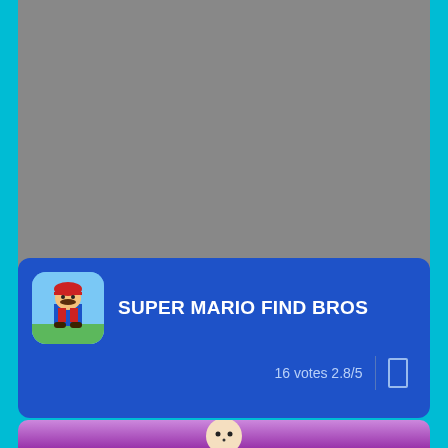[Figure (screenshot): Gray placeholder area for a game screenshot at the top of the card]
[Figure (illustration): Blue game card with Super Mario Find Bros title, game icon showing Mario character, 16 votes rating of 2.8/5]
SUPER MARIO FIND BROS
16 votes 2.8/5
New games
[Figure (screenshot): Bottom preview of another game with purple/pink background and a cartoon character visible at the bottom of the page]